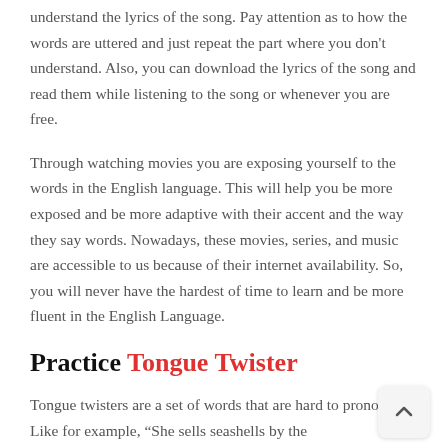understand the lyrics of the song. Pay attention as to how the words are uttered and just repeat the part where you don't understand. Also, you can download the lyrics of the song and read them while listening to the song or whenever you are free.
Through watching movies you are exposing yourself to the words in the English language. This will help you be more exposed and be more adaptive with their accent and the way they say words. Nowadays, these movies, series, and music are accessible to us because of their internet availability. So, you will never have the hardest of time to learn and be more fluent in the English Language.
Practice Tongue Twister
Tongue twisters are a set of words that are hard to pronounce. Like for example, “She sells seashells by the